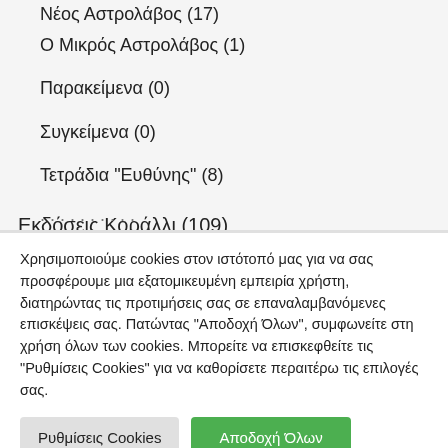Νέος Αστρολάβος (17)
Ο Μικρός Αστρολάβος (1)
Παρακείμενα (0)
Συγκείμενα (0)
Τετράδια "Ευθύνης" (8)
Εκδόσεις Κοράλλι (109)
Χρησιμοποιούμε cookies στον ιστότοπό μας για να σας προσφέρουμε μια εξατομικευμένη εμπειρία χρήστη, διατηρώντας τις προτιμήσεις σας σε επαναλαμβανόμενες επισκέψεις σας. Πατώντας "Αποδοχή Όλων", συμφωνείτε στη χρήση όλων των cookies. Μπορείτε να επισκεφθείτε τις "Ρυθμίσεις Cookies" για να καθορίσετε περαιτέρω τις επιλογές σας.
Ρυθμίσεις Cookies | Αποδοχή Όλων